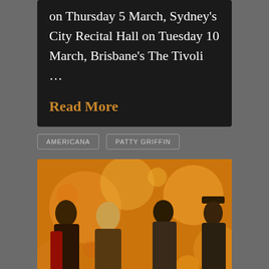on Thursday 5 March, Sydney's City Recital Hall on Tuesday 10 March, Brisbane's The Tivoli …
Read More
AMERICANA
PATTY GRIFFIN
[Figure (photo): Four rock band members posing in front of a warm orange/gold bokeh background. Members have long dark hair, tattoos, and rock/metal styling.]